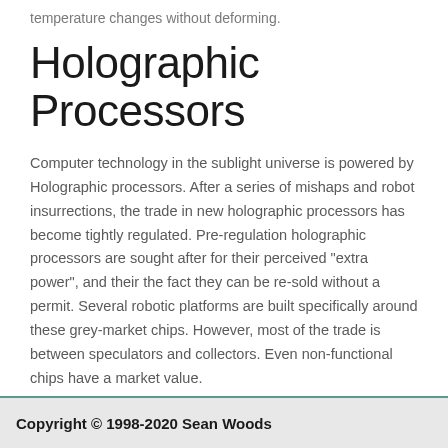temperature changes without deforming.
Holographic Processors
Computer technology in the sublight universe is powered by Holographic processors. After a series of mishaps and robot insurrections, the trade in new holographic processors has become tightly regulated. Pre-regulation holographic processors are sought after for their perceived "extra power", and their the fact they can be re-sold without a permit. Several robotic platforms are built specifically around these grey-market chips. However, most of the trade is between speculators and collectors. Even non-functional chips have a market value.
Copyright © 1998-2020 Sean Woods